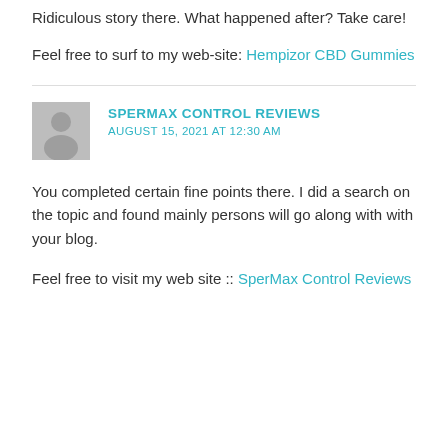Ridiculous story there. What happened after? Take care!
Feel free to surf to my web-site: Hempizor CBD Gummies
SPERMAX CONTROL REVIEWS
AUGUST 15, 2021 AT 12:30 AM
You completed certain fine points there. I did a search on the topic and found mainly persons will go along with with your blog.
Feel free to visit my web site :: SperMax Control Reviews